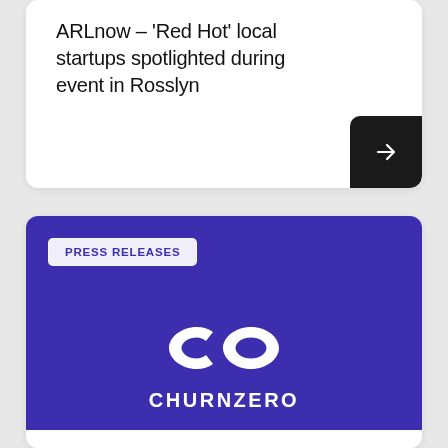ARLnow – 'Red Hot' local startups spotlighted during event in Rosslyn
[Figure (logo): ChurnZero company logo on purple background with CHURNZERO text below an infinity-style 'co' symbol]
PRESS RELEASES
JULY 25, 2022
ChurnZero achieves record hiring in first two quarters of 2022 and more than double